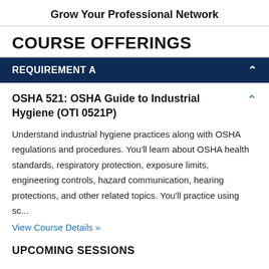Grow Your Professional Network
COURSE OFFERINGS
REQUIREMENT A
OSHA 521: OSHA Guide to Industrial Hygiene (OTI 0521P)
Understand industrial hygiene practices along with OSHA regulations and procedures. You'll learn about OSHA health standards, respiratory protection, exposure limits, engineering controls, hazard communication, hearing protections, and other related topics. You'll practice using sc...
View Course Details »
UPCOMING SESSIONS